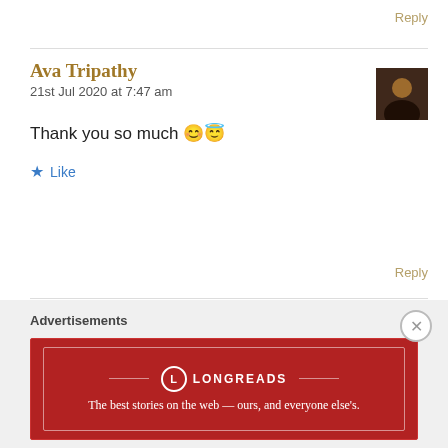Reply
Ava Tripathy
21st Jul 2020 at 7:47 am
Thank you so much 😊😇
Like
Reply
Shivam Choudhary
Advertisements
[Figure (logo): Longreads advertisement banner — red background with Longreads logo and tagline: The best stories on the web — ours, and everyone else's.]